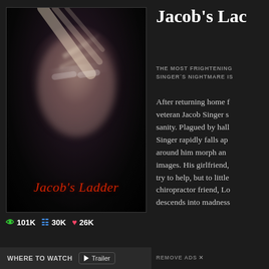[Figure (photo): Jacob's Ladder movie poster — dark background with blurred ghostly face wearing glasses, dramatic lighting. Red italic text 'Jacob's Ladder' at bottom.]
101K  30K  26K
WHERE TO WATCH   Trailer
Jacob's Lac
THE MOST FRIGHTENING SINGER'S NIGHTMARE IS
After returning home f veteran Jacob Singer s sanity. Plagued by hall Singer rapidly falls ap around him morph an images. His girlfriend, try to help, but to little chiropractor friend, Lo descends into madness
REMOVE ADS ×